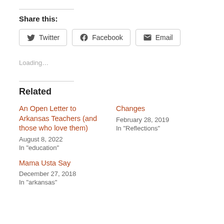Share this:
Twitter  Facebook  Email
Loading...
Related
An Open Letter to Arkansas Teachers (and those who love them)
August 8, 2022
In "education"
Changes
February 28, 2019
In "Reflections"
Mama Usta Say
December 27, 2018
In "arkansas"